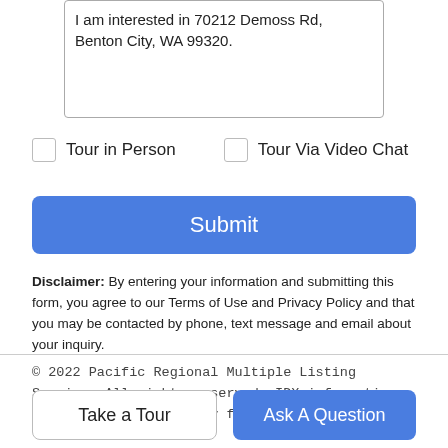I am interested in 70212 Demoss Rd, Benton City, WA 99320.
Tour in Person
Tour Via Video Chat
Submit
Disclaimer: By entering your information and submitting this form, you agree to our Terms of Use and Privacy Policy and that you may be contacted by phone, text message and email about your inquiry.
© 2022 Pacific Regional Multiple Listing Service. All rights reserved. IDX information is provided exclusively for consumers'
Take a Tour
Ask A Question